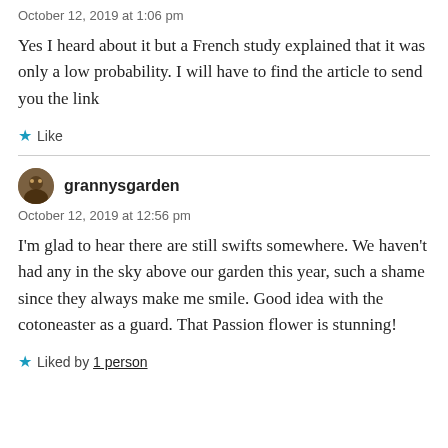October 12, 2019 at 1:06 pm
Yes I heard about it but a French study explained that it was only a low probability. I will have to find the article to send you the link
Like
grannysgarden
October 12, 2019 at 12:56 pm
I'm glad to hear there are still swifts somewhere. We haven't had any in the sky above our garden this year, such a shame since they always make me smile. Good idea with the cotoneaster as a guard. That Passion flower is stunning!
Liked by 1 person